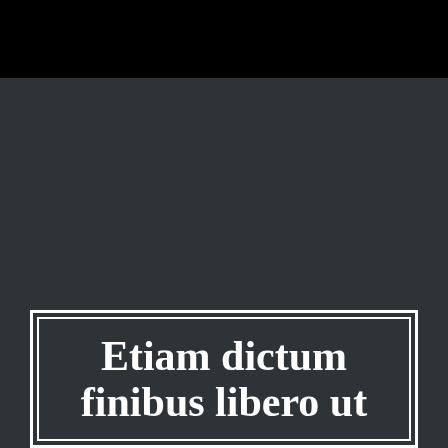[Figure (other): Dark gray background page with black bar at top. A white double-bordered rectangle is positioned in the lower portion containing large bold white serif text.]
Etiam dictum finibus libero ut